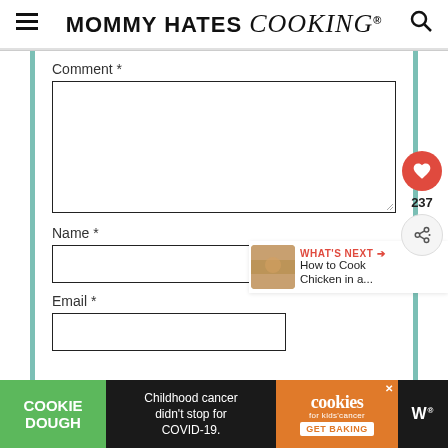MOMMY HATES cooking®
Comment *
Name *
Email *
[Figure (screenshot): Comment form text area input field, empty]
[Figure (screenshot): Name input field, empty]
[Figure (screenshot): Email input field, empty]
[Figure (infographic): Floating social buttons: red heart icon with 237 count and share icon. WHAT'S NEXT panel with chicken thumbnail and text 'How to Cook Chicken in a...']
[Figure (infographic): Advertisement banner: Cookie Dough / Childhood cancer didn't stop for COVID-19. / cookies for kids cancer GET BAKING / WW logo]